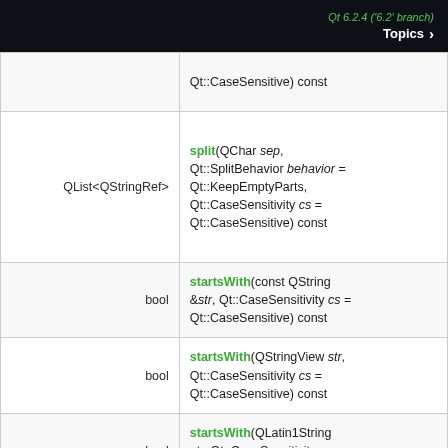Qt 6.2.4 ('6.2' branch) Topics >
| Return Type | Function Signature |
| --- | --- |
|  | Qt::CaseSensitive) const |
| QList<QStringRef> | split(QChar sep, Qt::SplitBehavior behavior = Qt::KeepEmptyParts, Qt::CaseSensitivity cs = Qt::CaseSensitive) const |
| bool | startsWith(const QString &str, Qt::CaseSensitivity cs = Qt::CaseSensitive) const |
| bool | startsWith(QStringView str, Qt::CaseSensitivity cs = Qt::CaseSensitive) const |
| bool | startsWith(QLatin1String str, Qt::CaseSensitivity cs = Qt::CaseSensitive) const |
| bool | startsWith(QChar ch, Qt::CaseSensitivity cs = Qt::CaseSensitive) const |